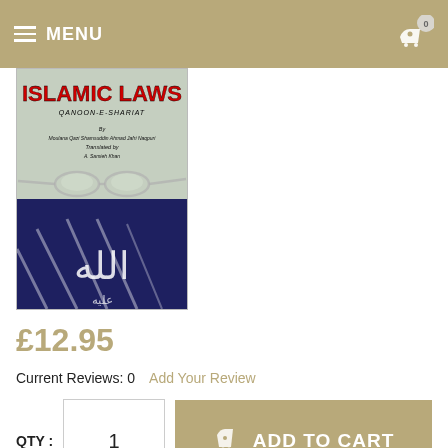MENU
[Figure (photo): Book cover of 'Islamic Laws - Qanoon-E-Shariat' showing title in red text, author and translator details, glasses image overlay, and Arabic calligraphy on dark blue background]
£12.95
Current Reviews: 0   Add Your Review
QTY :  1  ADD TO CART